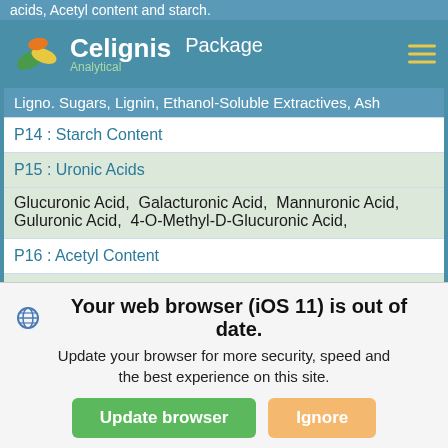acids, Acetyl content and starch.
Celignis Analytical — Package
Ligno. Sugars, Lignin, Ethanol-Soluble Extractives, Ash
P14 : Starch Content
P15 : Uronic Acids
Glucuronic Acid, Galacturonic Acid, Mannuronic Acid, Guluronic Acid, 4-O-Methyl-D-Glucuronic Acid,
P16 : Acetyl Content
P17 : Biomass Amino Acids
Alanine, Arginine, Aspartic Acid, Cystine, Glutamic Acid, Glycine, Histidine, Isoleucine, Leucine, Lysine, Methionine, Phenylalanine, Proline, Serine, Threonine, Tyrosine, Valine,
P18 : Biomass Lipids as Fatty Acids
P20 : Lignin S/G Ratio
Your web browser (iOS 11) is out of date. Update your browser for more security, speed and the best experience on this site.